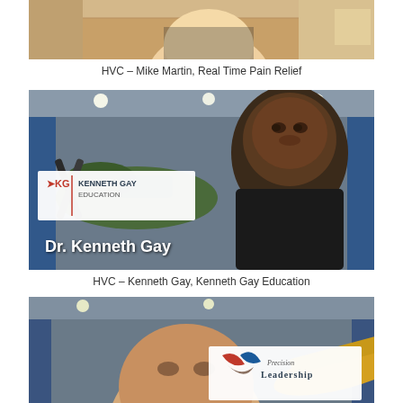[Figure (photo): Top of a photo showing a man in a patterned shirt in an aviation hangar, partially cropped at top]
HVC – Mike Martin, Real Time Pain Relief
[Figure (photo): Dr. Kenneth Gay standing in front of a green WWII-era airplane in an aviation hangar, with Kenneth Gay Education logo overlay in upper left and 'Dr. Kenneth Gay' text overlay in lower left]
HVC – Kenneth Gay, Kenneth Gay Education
[Figure (photo): Man in an aviation hangar in front of a yellow airplane with Precision Leadership logo overlay, photo partially cropped at bottom]